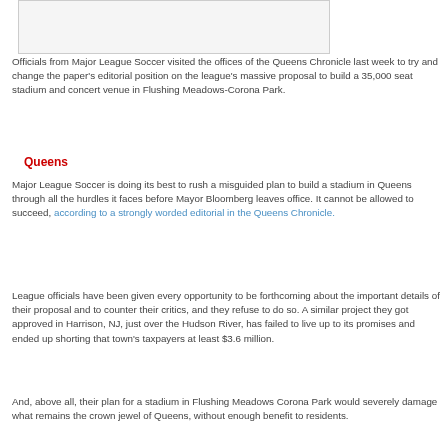[Figure (photo): Photograph placeholder at top of article]
Officials from Major League Soccer visited the offices of the Queens Chronicle last week to try and change the paper's editorial position on the league's massive proposal to build a 35,000 seat stadium and concert venue in Flushing Meadows-Corona Park.
Queens
Major League Soccer is doing its best to rush a misguided plan to build a stadium in Queens through all the hurdles it faces before Mayor Bloomberg leaves office. It cannot be allowed to succeed, according to a strongly worded editorial in the Queens Chronicle.
League officials have been given every opportunity to be forthcoming about the important details of their proposal and to counter their critics, and they refuse to do so. A similar project they got approved in Harrison, NJ, just over the Hudson River, has failed to live up to its promises and ended up shorting that town's taxpayers at least $3.6 million.
And, above all, their plan for a stadium in Flushing Meadows Corona Park would severely damage what remains the crown jewel of Queens, without enough benefit to residents.